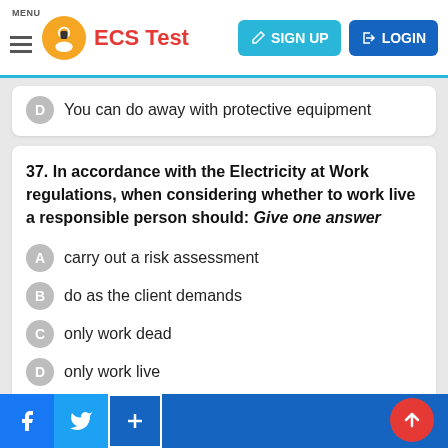ECS Test — MENU | SIGN UP | LOGIN
D  You can do away with protective equipment
37. In accordance with the Electricity at Work regulations, when considering whether to work live a responsible person should: Give one answer
A  carry out a risk assessment
B  do as the client demands
C  only work dead
D  only work live
38. When is live working permissible? Give one answer
A  When it is unreasonable in all circumstances for the equipment to be made dead and suitable precautions are taken